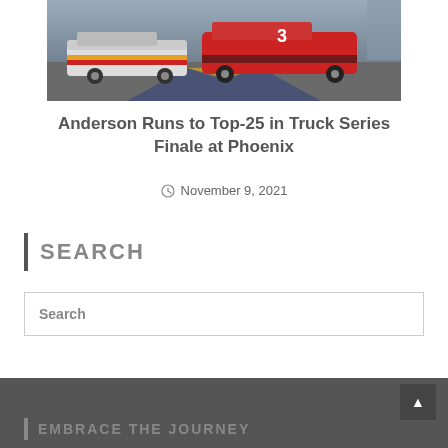[Figure (photo): NASCAR truck series race cars on track, including a red car with number 3, with a logo on the track surface]
Anderson Runs to Top-25 in Truck Series Finale at Phoenix
November 9, 2021
SEARCH
Search
EMBRACE THE JOURNEY